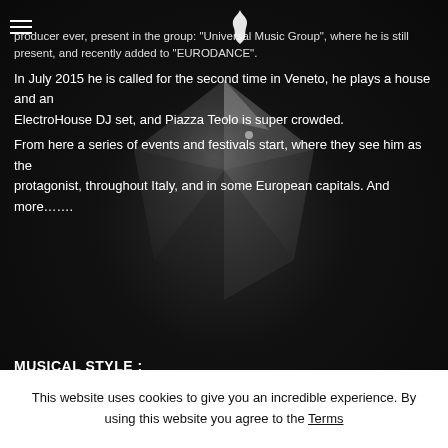producer ever, present in the group: "Universal Music Group", where he is still present, and recently added to "EURODANCE".
In July 2015 he is called for the second time in Veneto, he plays a house and an ElectroHouse DJ set, and Piazza Teolo is super crowded.
From here a series of events and festivals start, where they see him as the protagonist, throughout Italy, and in some European capitals. And more…….
MUSICAL STYLE :
Techno – Tech House – House – Bigroom – Edm
LABELS:
This website uses cookies to give you an incredible experience. By using this website you agree to the Terms